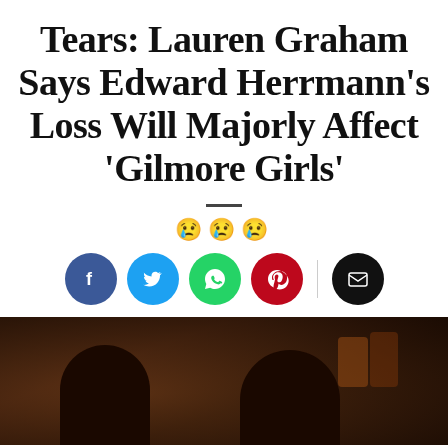Tears: Lauren Graham Says Edward Herrmann's Loss Will Majorly Affect 'Gilmore Girls'
[Figure (infographic): Three sad/crying face emoji icons in a row]
[Figure (infographic): Social sharing buttons: Facebook (blue), Twitter (blue), WhatsApp (green), Pinterest (red), Email (black)]
[Figure (photo): Dark, dimly lit scene showing the silhouettes of two people in what appears to be a bar or restaurant setting, with amber-lit glassware visible in the background]